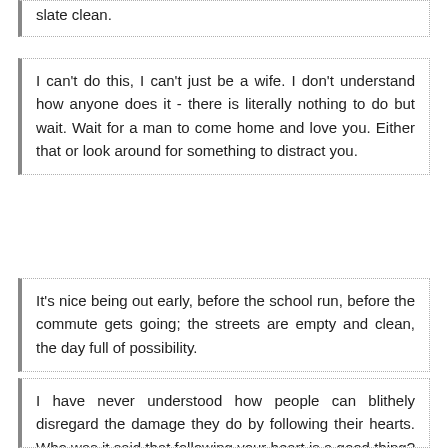slate clean.
I can't do this, I can't just be a wife. I don't understand how anyone does it - there is literally nothing to do but wait. Wait for a man to come home and love you. Either that or look around for something to distract you.
It's nice being out early, before the school run, before the commute gets going; the streets are empty and clean, the day full of possibility.
I have never understood how people can blithely disregard the damage they do by following their hearts. Who was it said that following your heart is a good thing? It is pure egotism, a selfishness to